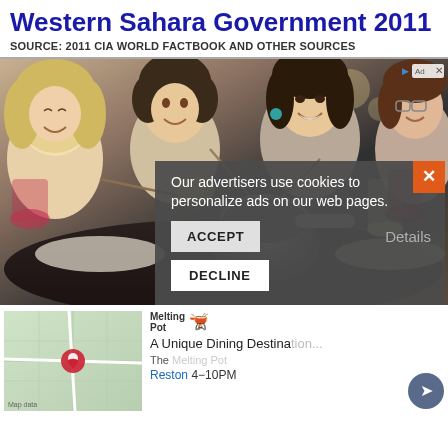Western Sahara Government 2011
SOURCE: 2011 CIA WORLD FACTBOOK AND OTHER SOURCES
[Figure (photo): Photo of people dining at a fondue restaurant with a fondue pot in the center of the table, women smiling and enjoying food]
[Figure (screenshot): Cookie consent overlay with text: Our advertisers use cookies to personalize ads on our web pages. Buttons: ACCEPT, DECLINE, Details. Orange close button with X.]
[Figure (other): Advertisement for The Melting Pot restaurant. Melting Pot logo visible. Text: A Unique Dining Destination. Location: Reston, hours 4-10PM. Map thumbnail with location pin.]